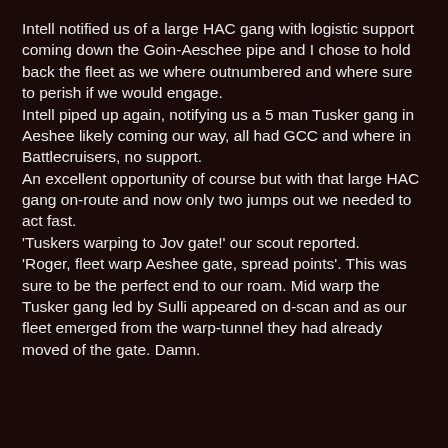Intell notified us of a large HAC gang with logistic support coming down the Goin-Aeschee pipe and I chose to hold back the fleet as we where outnumbered and where sure to perish if we would engage.
Intell piped up again, notifying us a 5 man Tusker gang in Aeshee likely coming our way, all had GCC and where in Battlecruisers, no support.
An excellent opportunity of course but with that large HAC gang on-route and now only two jumps out we needed to act fast.
'Tuskers warping to Jov gate!' our scout reported.
'Roger, fleet warp Aeshee gate, spread points'. This was sure to be the perfect end to our roam. Mid warp the Tusker gang led by Sulli appeared on d-scan and as our fleet emerged from the warp-tunnel they had already moved of the gate. Damn.